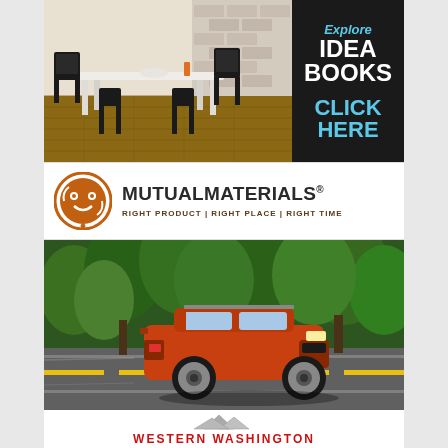[Figure (illustration): Advertisement for flooring idea books showing a dining room with wood floors, white table, black metal chairs, and brick wall. Right side has dark panel with text: Explore IDEA BOOKS, CLICK HERE.]
[Figure (logo): Mutual Materials advertisement with circular brown logo and text: MUTUALMATERIALS® RIGHT PRODUCT | RIGHT PLACE | RIGHT TIME]
[Figure (photo): Advertisement photo of an orange Toyota RAV4 SUV driving on a road through a green forested area.]
[Figure (logo): Western Washington advertisement showing mountain logo and red text: WESTERN WASHINGTON]